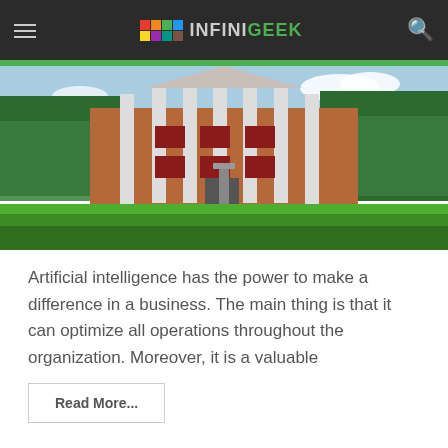INFINIGEEK
[Figure (photo): University building with tall white columns and green lawn, trees on both sides, blue sky with clouds]
Artificial intelligence has the power to make a difference in a business. The main thing is that it can optimize all operations throughout the organization. Moreover, it is a valuable
Read More...